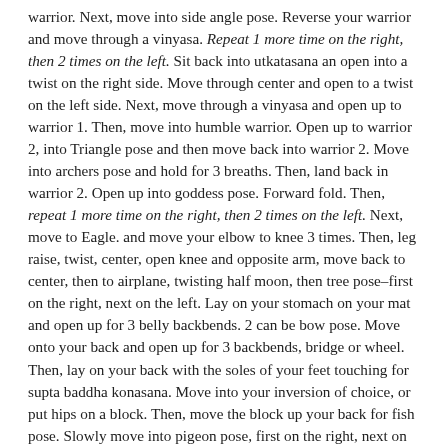warrior. Next, move into side angle pose. Reverse your warrior and move through a vinyasa. Repeat 1 more time on the right, then 2 times on the left. Sit back into utkatasana an open into a twist on the right side. Move through center and open to a twist on the left side. Next, move through a vinyasa and open up to warrior 1. Then, move into humble warrior. Open up to warrior 2, into Triangle pose and then move back into warrior 2. Move into archers pose and hold for 3 breaths. Then, land back in warrior 2. Open up into goddess pose. Forward fold. Then, repeat 1 more time on the right, then 2 times on the left. Next, move to Eagle. and move your elbow to knee 3 times. Then, leg raise, twist, center, open knee and opposite arm, move back to center, then to airplane, twisting half moon, then tree pose–first on the right, next on the left. Lay on your stomach on your mat and open up for 3 belly backbends. 2 can be bow pose. Move onto your back and open up for 3 backbends, bridge or wheel. Then, lay on your back with the soles of your feet touching for supta baddha konasana. Move into your inversion of choice, or put hips on a block. Then, move the block up your back for fish pose. Slowly move into pigeon pose, first on the right, next on the left. Come to a seated position on your mat, and stretch your legs out for double leg extension, first on the right, next on the left. Lay down on your mat for happy baby. Let your knees fall to the left and twist to the right. Flip your knees and repeat on the left side. Savasana. Namaste!